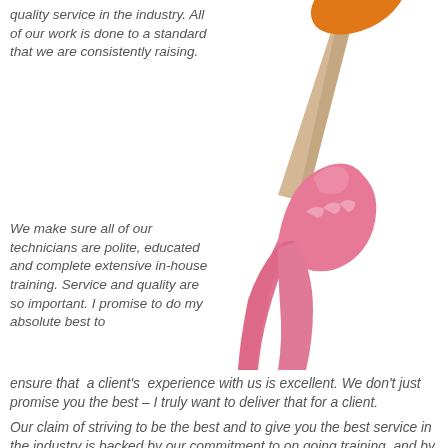quality service in the industry. All of our work is done to a standard that we are consistently raising.
[Figure (photo): A hand wearing a pink rubber glove holds a wooden-handled plunger raised upward against a white background.]
We make sure all of our technicians are polite, educated and complete extensive in-house training. Service and quality are so important. I promise to do my absolute best to ensure that a client's experience with us is excellent. We don't just promise you the best – I truly want to deliver that for a client.
Our claim of striving to be the best and to give you the best service in the industry is backed by our commitment to on going training, and by giving